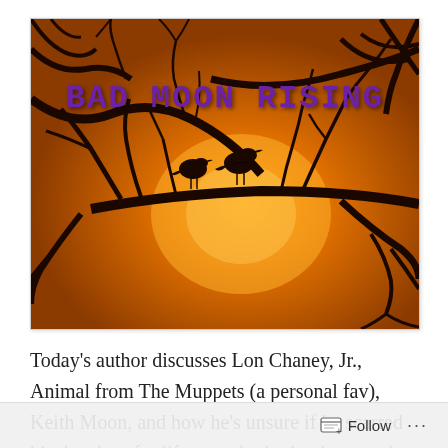[Figure (illustration): Orange-toned atmospheric image of bare tree branches with two bird silhouettes perched on a branch, against a bright orange sky. Bold purple decorative text reads 'BAD MOON RISING' overlaid on the upper portion of the image.]
Today's author discusses Lon Chaney, Jr., Animal from The Muppets (a personal fav), Keith Moon, and how he's unsure if he scarred his daughter for life more by letting her watch an alien abduction movie or sending